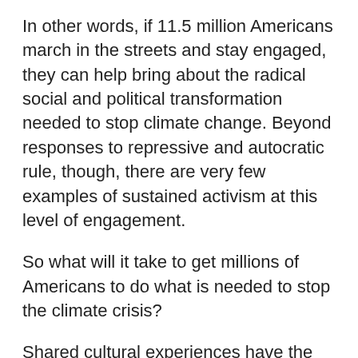In other words, if 11.5 million Americans march in the streets and stay engaged, they can help bring about the radical social and political transformation needed to stop climate change. Beyond responses to repressive and autocratic rule, though, there are very few examples of sustained activism at this level of engagement.
So what will it take to get millions of Americans to do what is needed to stop the climate crisis?
Shared cultural experiences have the capacity to serve as platforms for civic participation and activism that can mobilize the masses. Given the overwhelming evidence that young people are concerned and anxious about how the climate crisis affects them, it makes sense to activate them at events where emotional energy can